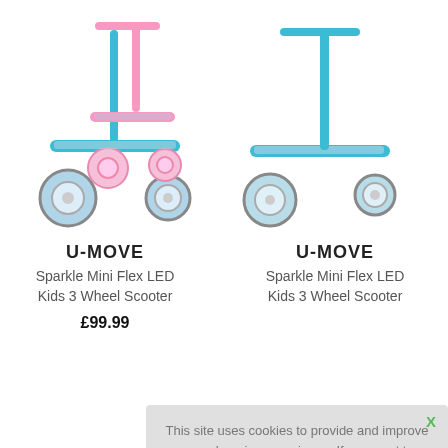[Figure (photo): Two U-MOVE Sparkle Mini Flex LED Kids 3 Wheel Scooters — one teal/pink and one teal — shown from the front/side, partially cropped at the top.]
U-MOVE
Sparkle Mini Flex LED Kids 3 Wheel Scooter
£99.99
U-MOVE
Sparkle Mini Flex LED Kids 3 Wheel Scooter
This site uses cookies to provide and improve your shopping experience. If you want to benefit from this improved service, please opt-in. Cookies Page.

I opt-in to a better browsing experience

ACCEPT COOKIES